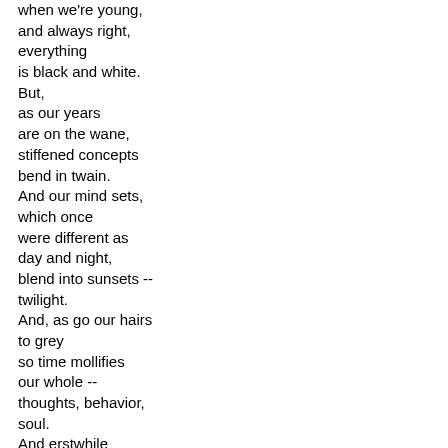when we're young,
and always right,
everything
is black and white.
But,
as our years
are on the wane,
stiffened concepts
bend in twain.
And our mind sets,
which once
were different as
day and night,
blend into sunsets --
twilight.
And, as go our hairs
to grey
so time mollifies
our whole --
thoughts, behavior,
soul.
And erstwhile
prejudices may
in one big happy
melting pot,